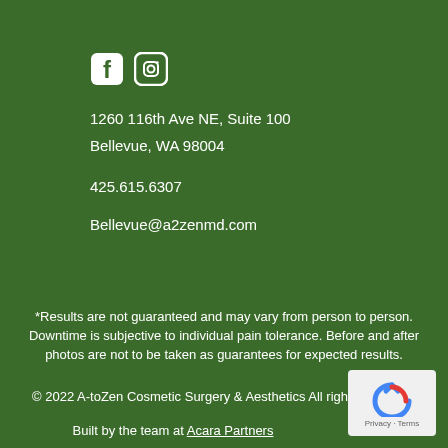[Figure (logo): Facebook and Instagram social media icons in white]
1260 116th Ave NE, Suite 100
Bellevue, WA 98004
425.615.6307
Bellevue@a2zenmd.com
*Results are not guaranteed and may vary from person to person. Downtime is subjective to individual pain tolerance. Before and after photos are not to be taken as guarantees for expected results.
© 2022 A-toZen Cosmetic Surgery & Aesthetics All rights reserved.
Built by the team at Acara Partners
[Figure (logo): reCAPTCHA logo with Privacy - Terms text]